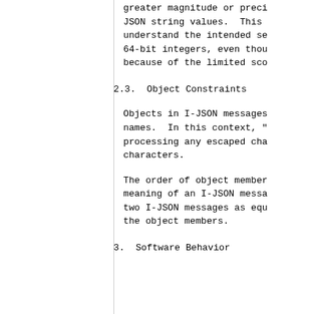greater magnitude or preci JSON string values.  This understand the intended se 64-bit integers, even thou because of the limited sco
2.3.  Object Constraints
Objects in I-JSON messages names.  In this context, ' processing any escaped cha characters.
The order of object member meaning of an I-JSON messa two I-JSON messages as equ the object members.
3.  Software Behavior